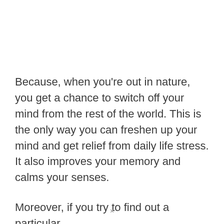Because, when you're out in nature, you get a chance to switch off your mind from the rest of the world. This is the only way you can freshen up your mind and get relief from daily life stress. It also improves your memory and calms your senses.
Moreover, if you try to find out a particular